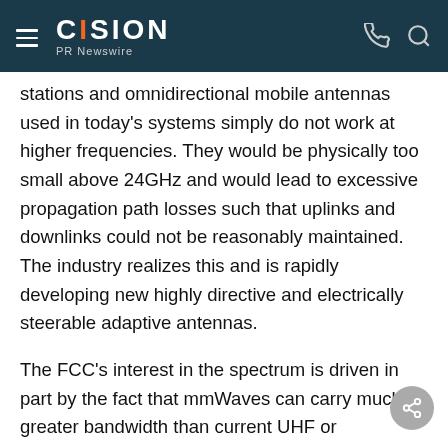CISION PR Newswire
stations and omnidirectional mobile antennas used in today's systems simply do not work at higher frequencies. They would be physically too small above 24GHz and would lead to excessive propagation path losses such that uplinks and downlinks could not be reasonably maintained. The industry realizes this and is rapidly developing new highly directive and electrically steerable adaptive antennas.
The FCC's interest in the spectrum is driven in part by the fact that mmWaves can carry much greater bandwidth than current UHF or microwave